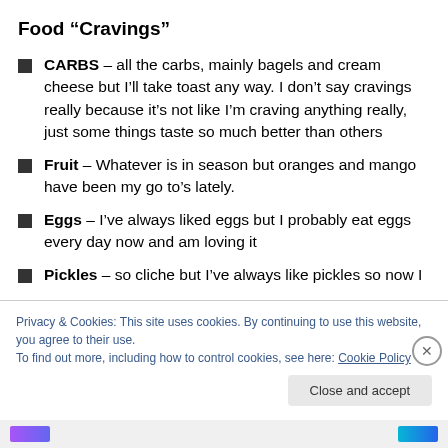Food “Cravings”
CARBS – all the carbs, mainly bagels and cream cheese but I’ll take toast any way. I don’t say cravings really because it’s not like I’m craving anything really, just some things taste so much better than others
Fruit – Whatever is in season but oranges and mango have been my go to’s lately.
Eggs – I’ve always liked eggs but I probably eat eggs every day now and am loving it
Pickles – so cliche but I’ve always like pickles so now I
Privacy & Cookies: This site uses cookies. By continuing to use this website, you agree to their use.
To find out more, including how to control cookies, see here: Cookie Policy